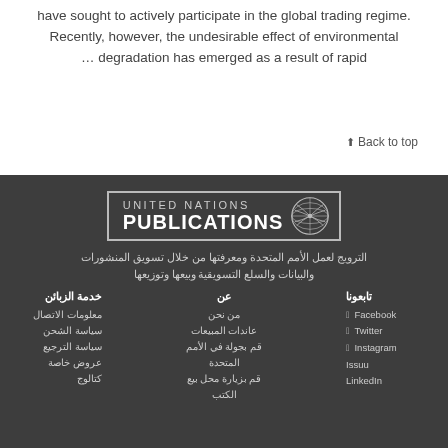have sought to actively participate in the global trading regime. Recently, however, the undesirable effect of environmental … degradation has emerged as a result of rapid
⬆ Back to top
[Figure (logo): United Nations Publications logo with UN emblem on dark background]
الترويج لعمل الأمم المتحدة ومعرفتها من خلال تسويق المنشورات والبيانات والسلع التسويقية وبيعها وتوزيعها
تابعونا
عن
خدمة الزبائن
Facebook
من نحن
معلومات الاتصال
Twitter
عاندات المبيعات
سياسة الشحن
Instagram
قم بجولة في الأمم المتحدة
سياسة الترجيع
Issuu
عروض خاصة
قم بزيارة محل بيع الكتب
LinkedIn
كتالوج